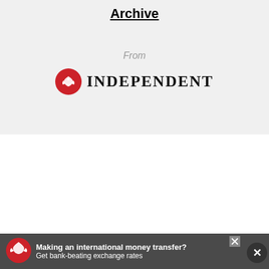Archive
From
[Figure (logo): The Independent newspaper logo — red circle with white eagle icon and 'INDEPENDENT' in bold serif uppercase letters]
[Figure (infographic): Advertisement bar: Red circle with white eagle icon, text 'Making an international money transfer? Get bank-beating exchange rates', close button X, and large X dismiss button]